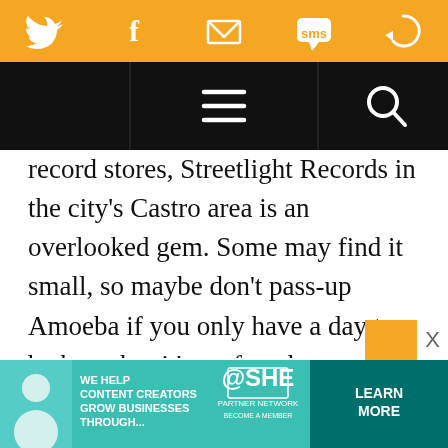[Figure (screenshot): Orange social media sharing bar with Twitter, Facebook, email, SMS, and refresh icons in white]
[Figure (screenshot): Black navigation bar with hamburger menu icon in center and search magnifying glass icon on right]
record stores, Streetlight Records in the city's Castro area is an overlooked gem. Some may find it small, so maybe don't pass-up Amoeba if you only have a day to be here, but it's perfect the way it is. New stuff, super cheap used stuff, lots of new and used vinyl, and, in particular, a carefully curated selection of catalog titles displayed throughout the store make Streetlight one-of-a-kind. Here, music passionistas can argue over Nilsson and dub w
[Figure (infographic): Advertisement banner for SHE Media Partner Network reading WE HELP CONTENT CREATORS GROW BUSINESSES THROUGH... with LEARN MORE button]